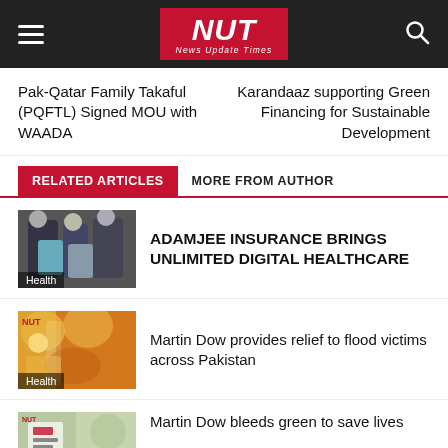NUT News Update Times
Pak-Qatar Family Takaful (PQFTL) Signed MOU with WAADA
Karandaaz supporting Green Financing for Sustainable Development
RELATED ARTICLES    MORE FROM AUTHOR
ADAMJEE INSURANCE BRINGS UNLIMITED DIGITAL HEALTHCARE
Martin Dow provides relief to flood victims across Pakistan
Martin Dow bleeds green to save lives